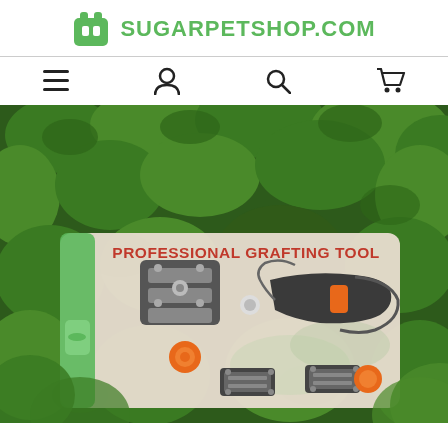SUGARPETSHOP.COM
[Figure (screenshot): E-commerce website header with logo (green cat-head icon) and navigation bar with hamburger menu, user, search, and cart icons]
[Figure (photo): Product photo of a Professional Grafting Tool in packaging, shown against a background of green leaves. The tool includes grafting scissors with orange button and two blade attachments.]